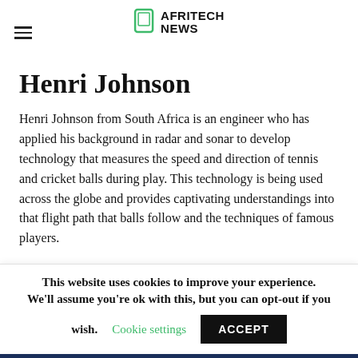AFRITECH NEWS
Henri Johnson
Henri Johnson from South Africa is an engineer who has applied his background in radar and sonar to develop technology that measures the speed and direction of tennis and cricket balls during play. This technology is being used across the globe and provides captivating understandings into that flight path that balls follow and the techniques of famous players.
In his heyday, he developed radar technology that could
This website uses cookies to improve your experience. We'll assume you're ok with this, but you can opt-out if you wish. Cookie settings ACCEPT